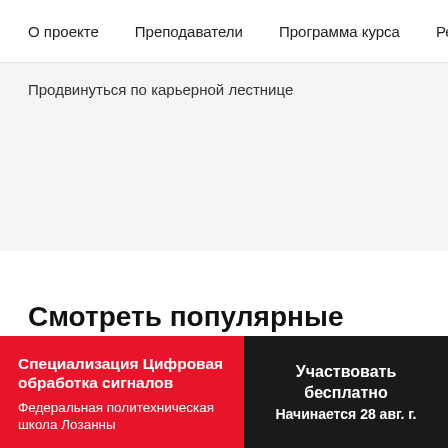О проекте   Преподаватели   Программа курса   Рецензи
Продвинуться по карьерной лестнице
Смотреть популярные темы
бесплатные курсы
Изучите иностранный язык
Python
Java
Специализация Цифровая обработка сигналов
Федеральная политехническая школа Лозанны
Участвовать бесплатно
Начинается 28 авг. г.